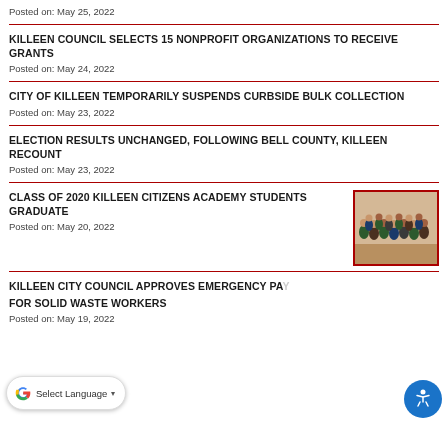Posted on: May 25, 2022
KILLEEN COUNCIL SELECTS 15 NONPROFIT ORGANIZATIONS TO RECEIVE GRANTS
Posted on: May 24, 2022
CITY OF KILLEEN TEMPORARILY SUSPENDS CURBSIDE BULK COLLECTION
Posted on: May 23, 2022
ELECTION RESULTS UNCHANGED, FOLLOWING BELL COUNTY, KILLEEN RECOUNT
Posted on: May 23, 2022
CLASS OF 2020 KILLEEN CITIZENS ACADEMY STUDENTS GRADUATE
[Figure (photo): Group photo of graduates from the Killeen Citizens Academy Class of 2020]
Posted on: May 20, 2022
KILLEEN CITY COUNCIL APPROVES EMERGENCY PAY FOR SOLID WASTE WORKERS
Posted on: May 19, 2022